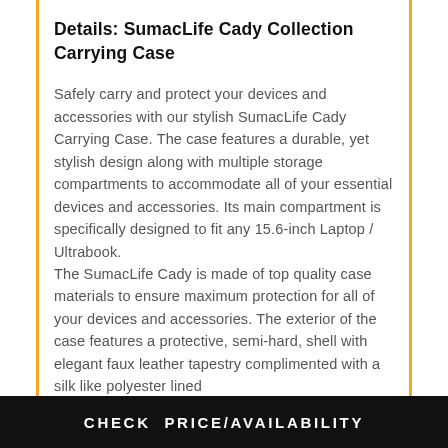Details: SumacLife Cady Collection Carrying Case
Safely carry and protect your devices and accessories with our stylish SumacLife Cady Carrying Case. The case features a durable, yet stylish design along with multiple storage compartments to accommodate all of your essential devices and accessories. Its main compartment is specifically designed to fit any 15.6-inch Laptop / Ultrabook.
The SumacLife Cady is made of top quality case materials to ensure maximum protection for all of your devices and accessories. The exterior of the case features a protective, semi-hard, shell with elegant faux leather tapestry complimented with a silk like polyester lined
CHECK PRICE/AVAILABILITY